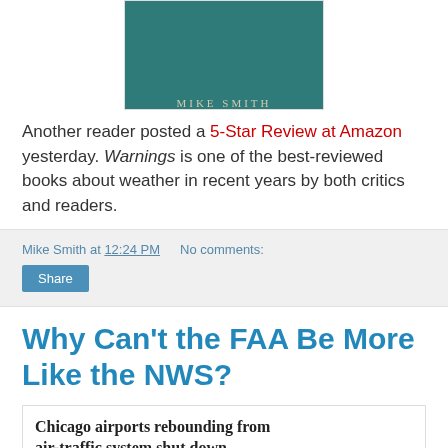[Figure (photo): Book cover showing 'MIKE SMITH' text on a teal/dark background]
Another reader posted a 5-Star Review at Amazon yesterday. Warnings is one of the best-reviewed books about weather in recent years by both critics and readers.
Mike Smith at 12:24 PM   No comments:
Share
Why Can't the FAA Be More Like the NWS?
[Figure (screenshot): News article card: 'Chicago airports rebounding from air-traffic system shut down' with a photo of Chicago airport interior showing United Airlines signage]